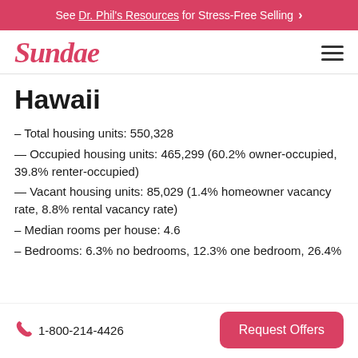See Dr. Phil's Resources for Stress-Free Selling >
Sundae
Hawaii
– Total housing units: 550,328
— Occupied housing units: 465,299 (60.2% owner-occupied, 39.8% renter-occupied)
— Vacant housing units: 85,029 (1.4% homeowner vacancy rate, 8.8% rental vacancy rate)
– Median rooms per house: 4.6
– Bedrooms: 6.3% no bedrooms, 12.3% one bedroom, 26.4%
1-800-214-4426   Request Offers